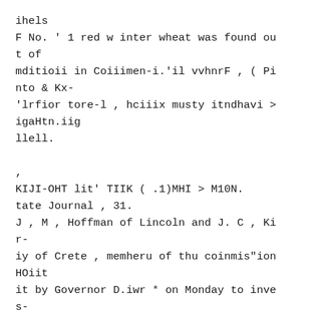ihels
F No. ' 1 red w inter wheat was found ou
t of
mditioii in Coiiimen-i.'il vvhnrF , ( Pi
nto & Kx-
'lrfior tore-l , hciiix musty itndhavi >
igaHtn.iig
llell.

,
KIJI-OHT lit' TIIK ( .1)MHI > M10N.
tate Journal , 31.
J , M , Hoffman of Lincoln and J. C , Ki
r-
iy of Crete , memheru of thu coinmis"ion
HOiit
it by Governor D.iwr * on Monday to inve
s-
gate tlm rt'jioiUd Texas fnver amonif ea
t-